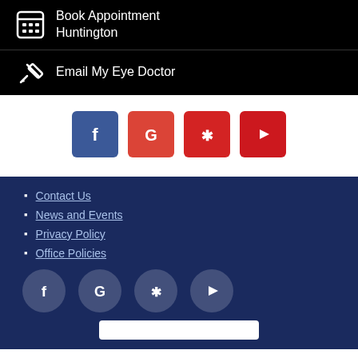Book Appointment Huntington
Email My Eye Doctor
[Figure (infographic): Social media icon buttons: Facebook (blue), Google (red), Yelp (red), YouTube (red)]
Contact Us
News and Events
Privacy Policy
Office Policies
[Figure (infographic): Social media icon circles on dark navy background: Facebook, Google, Yelp, YouTube]